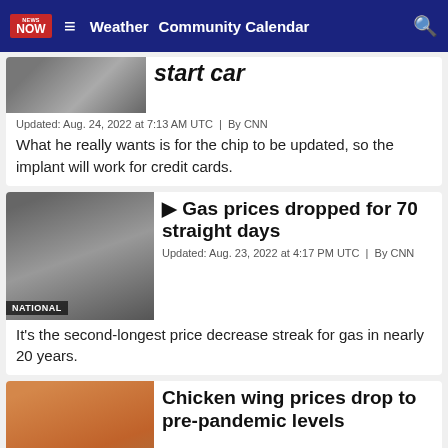News Now — Weather | Community Calendar
start car
Updated: Aug. 24, 2022 at 7:13 AM UTC  |  By CNN
What he really wants is for the chip to be updated, so the implant will work for credit cards.
Gas prices dropped for 70 straight days
Updated: Aug. 23, 2022 at 4:17 PM UTC  |  By CNN
It's the second-longest price decrease streak for gas in nearly 20 years.
Chicken wing prices drop to pre-pandemic levels
Updated: Aug. 23, 2022 at 2:34 PM UTC  |  By CNN
Poultry is in high demand across the country.